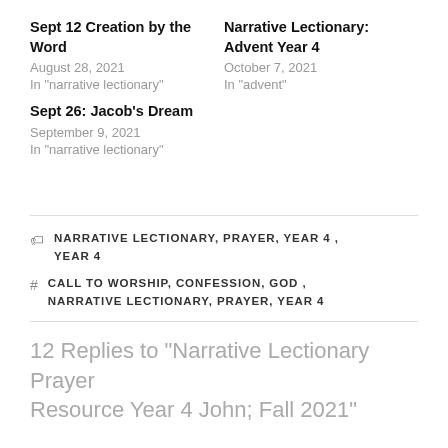Sept 12 Creation by the Word
August 28, 2021
In "narrative lectionary"
Narrative Lectionary: Advent Year 4
October 7, 2021
In "advent"
Sept 26: Jacob's Dream
September 9, 2021
In "narrative lectionary"
NARRATIVE LECTIONARY, PRAYER, YEAR 4, YEAR 4
CALL TO WORSHIP, CONFESSION, GOD, NARRATIVE LECTIONARY, PRAYER, YEAR 4
12 Replies to “Narrative Lectionary Prayer Resource Year 4 John; Fall 2021”